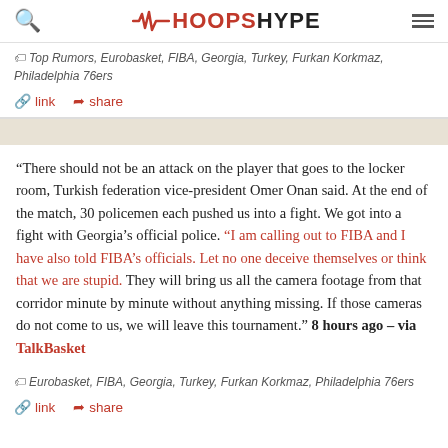HoopsHype
Top Rumors, Eurobasket, FIBA, Georgia, Turkey, Furkan Korkmaz, Philadelphia 76ers
link  share
“There should not be an attack on the player that goes to the locker room, Turkish federation vice-president Omer Onan said. At the end of the match, 30 policemen each pushed us into a fight. We got into a fight with Georgia’s official police. “I am calling out to FIBA and I have also told FIBA’s officials. Let no one deceive themselves or think that we are stupid. They will bring us all the camera footage from that corridor minute by minute without anything missing. If those cameras do not come to us, we will leave this tournament.” 8 hours ago – via TalkBasket
Eurobasket, FIBA, Georgia, Turkey, Furkan Korkmaz, Philadelphia 76ers
link  share